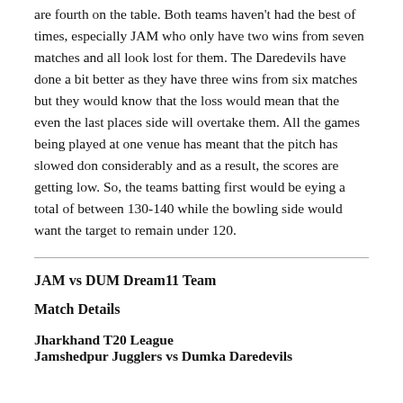are fourth on the table. Both teams haven't had the best of times, especially JAM who only have two wins from seven matches and all look lost for them. The Daredevils have done a bit better as they have three wins from six matches but they would know that the loss would mean that the even the last places side will overtake them. All the games being played at one venue has meant that the pitch has slowed don considerably and as a result, the scores are getting low. So, the teams batting first would be eying a total of between 130-140 while the bowling side would want the target to remain under 120.
JAM vs DUM Dream11 Team
Match Details
Jharkhand T20 League
Jamshedpur Jugglers vs Dumka Daredevils